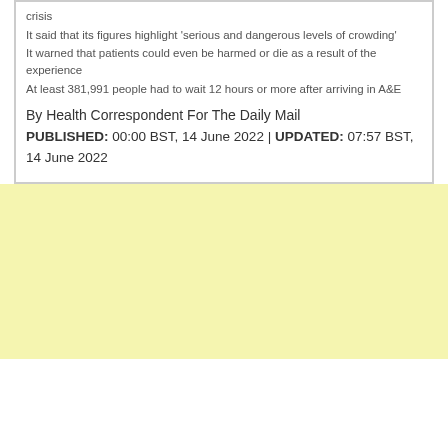crisis
It said that its figures highlight 'serious and dangerous levels of crowding'
It warned that patients could even be harmed or die as a result of the experience
At least 381,991 people had to wait 12 hours or more after arriving in A&E
By Health Correspondent For The Daily Mail
PUBLISHED: 00:00 BST, 14 June 2022 | UPDATED: 07:57 BST, 14 June 2022
[Figure (other): Yellow advertisement/placeholder area]